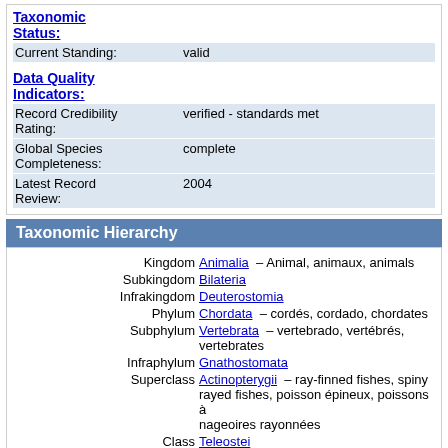Taxonomic Status:
| Field | Value |
| --- | --- |
| Current Standing: | valid |
|  |  |
| Data Quality Indicators: |  |
| Record Credibility Rating: | verified - standards met |
| Global Species Completeness: | complete |
| Latest Record Review: | 2004 |
Taxonomic Hierarchy
| Rank | Value |
| --- | --- |
| Kingdom | Animalia – Animal, animaux, animals |
| Subkingdom | Bilateria |
| Infrakingdom | Deuterostomia |
| Phylum | Chordata – cordés, cordado, chordates |
| Subphylum | Vertebrata – vertebrado, vertébrés, vertebrates |
| Infraphylum | Gnathostomata |
| Superclass | Actinopterygii – ray-finned fishes, spiny rayed fishes, poisson épineux, poissons à nageoires rayonnées |
| Class | Teleostei |
| Superorder | Acanthopterygii |
| Order | Perciformes – perch-like fishes |
| Suborder | Percoidei |
| Family | Bramidae – pomfrets, castagnoles, tristones |
| Genus | Brama Bloch and Schneider, 1801 – |